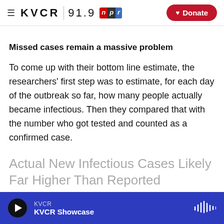≡ KVCR 91.9 npr Donate
Missed cases remain a massive problem
To come up with their bottom line estimate, the researchers' first step was to estimate, for each day of the outbreak so far, how many people actually became infectious. Then they compared that with the number who got tested and counted as a confirmed case.
Actual New Infectious Cases Likely Far Higher Than Reported
KVCR – KVCR Showcase